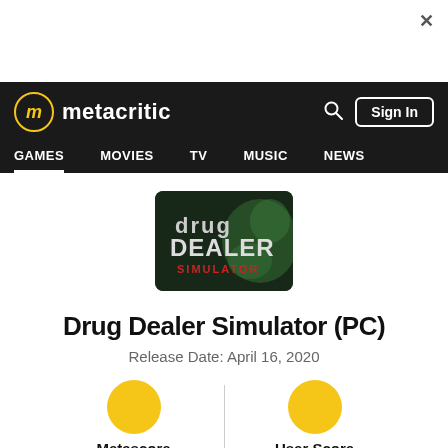[Figure (screenshot): Metacritic website screenshot showing Drug Dealer Simulator (PC) game page with navbar, game cover image, title, release date, and score sections]
metacritic — GAMES  MOVIES  TV  MUSIC  NEWS
[Figure (logo): Drug Dealer Simulator game cover image: dark background with 'drug DEALER SIMULATOR' text in stylized font]
Drug Dealer Simulator (PC)
Release Date: April 16, 2020
Metascore  |  User Score